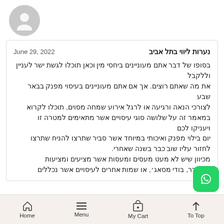[Figure (illustration): Gray circular avatar/profile placeholder icon]
נערות ליווי בתל אביב   June 29, 2022
בסופו של דבר אתם מעוניינים ביחסי מין וכאן תוכלו לגשת ישר לעניין וללקבל את מה שאתם רוצים. אך אם אתם מעוניינים בעיסוי מפנק בבאר שבע לצורכי הנאה ורגיעה או לרגל אירוע שמחה מסוים, תוכלו לקרוא במאמר זה על שלושה סוגי עיסויים אשר מתאימים למטרה זו ויעניקו לכם יום בילוי מפנק ואיכותי במיוחד אשר סביר שתרצו לחזור עליו שוב כבר בשנה שאחרי. מכיוון שיש לא מעט מעסים ומעסות אשר מציעים ומציעות לקוחות משחרר, בודי מסאג׳, או שמות אחרים לעיסויים אשר נכללים
Home   Menu   My Cart   To Top